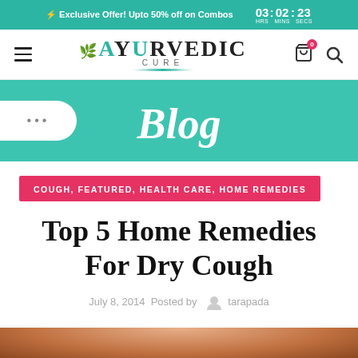⚡ Exclusive Offer! Upto 50% off on Combos  03 : 02 : 23 HRS MINS SECS
[Figure (logo): Ayurvedic Cure logo with teal leaf icon, hamburger menu, cart with badge 0, and search icon]
Blog
COUGH, FEATURED, HEALTH CARE, HOME REMEDIES
Top 5 Home Remedies For Dry Cough
July 8, 2014 Posted by tarapada
[Figure (photo): Bottom portion of a photo showing a person, cropped at the bottom of the page]